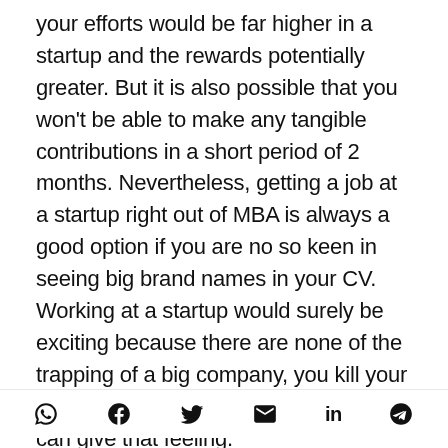your efforts would be far higher in a startup and the rewards potentially greater. But it is also possible that you won't be able to make any tangible contributions in a short period of 2 months. Nevertheless, getting a job at a startup right out of MBA is always a good option if you are no so keen in seeing big brand names in your CV. Working at a startup would surely be exciting because there are none of the trapping of a big company, you kill your own food and no brand, however big, can give that feeling.
f th   t th     S  ll  P   l    f    t  l  t